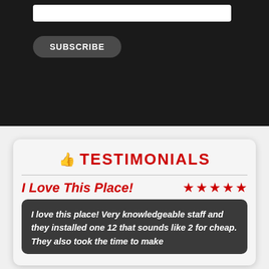[Figure (screenshot): White input box on dark background, partially visible at top]
SUBSCRIBE
TESTIMONIALS
I Love This Place!
I love this place! Very knowledgeable staff and they installed one 12 that sounds like 2 for cheap. They also took the time to make